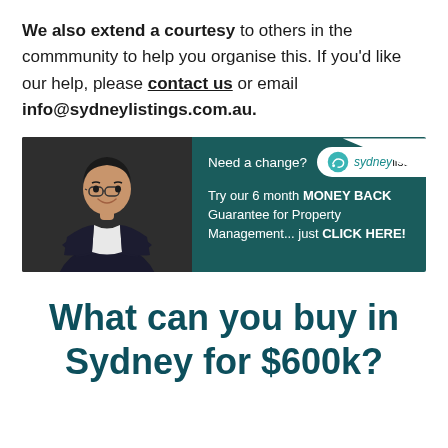We also extend a courtesy to others in the commmunity to help you organise this. If you'd like our help, please contact us or email info@sydneylistings.com.au.
[Figure (infographic): Advertisement banner for Sydney Listings. Left side shows a man in a suit with arms crossed against a dark background. Right side has teal background with text: 'Need a change?' with Sydney Listings logo. Body text: 'Try our 6 month MONEY BACK Guarantee for Property Management... just CLICK HERE!']
What can you buy in Sydney for $600k?